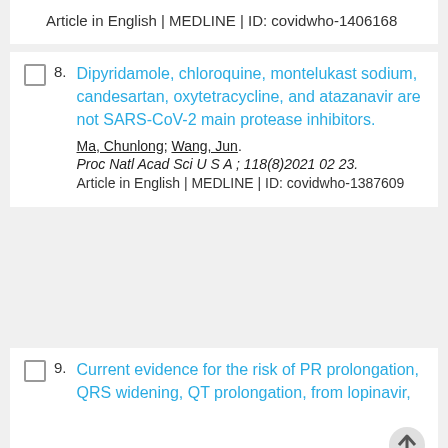Article in English | MEDLINE | ID: covidwho-1406168
8. Dipyridamole, chloroquine, montelukast sodium, candesartan, oxytetracycline, and atazanavir are not SARS-CoV-2 main protease inhibitors.
Ma, Chunlong; Wang, Jun.
Proc Natl Acad Sci U S A ; 118(8)2021 02 23.
Article in English | MEDLINE | ID: covidwho-1387609
9. Current evidence for the risk of PR prolongation, QRS widening, QT prolongation, from lopinavir,